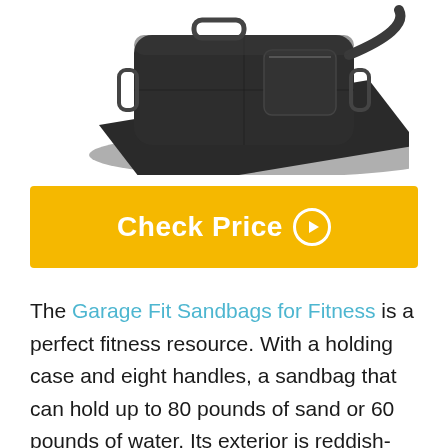[Figure (photo): Black fitness sandbag with multiple handles, shown at an angle on a dark mat/surface]
Check Price ▶
The Garage Fit Sandbags for Fitness is a perfect fitness resource. With a holding case and eight handles, a sandbag that can hold up to 80 pounds of sand or 60 pounds of water. Its exterior is reddish-black and the handles mentioned above are solid and well balanced on the sandbag, so you can keep the sandbag securely wherever you are. The bag is covered with a double...